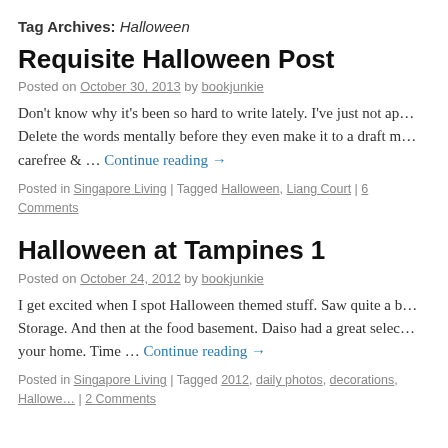Tag Archives: Halloween
Requisite Halloween Post
Posted on October 30, 2013 by bookjunkie
Don't know why it's been so hard to write lately. I've just not ap… Delete the words mentally before they even make it to a draft m… carefree & … Continue reading →
Posted in Singapore Living | Tagged Halloween, Liang Court | 6 Comments
Halloween at Tampines 1
Posted on October 24, 2012 by bookjunkie
I get excited when I spot Halloween themed stuff. Saw quite a b… Storage. And then at the food basement. Daiso had a great selec… your home. Time … Continue reading →
Posted in Singapore Living | Tagged 2012, daily photos, decorations, Hallowe… | 2 Comments